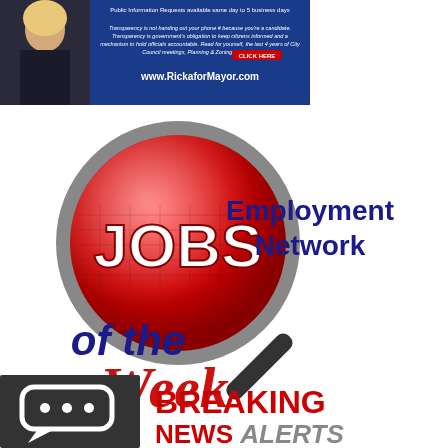[Figure (infographic): Political campaign advertisement banner for Ricka for Mayor. Shows a woman in a black jacket on the left against a blue background with text about transparency and government accountability. Includes website www.RickaforMayor.com]
[Figure (logo): JOBS Employment Network - Jobs of the Week logo. Features a red magnifying glass with the word JOBS in white text, a magnifying glass handle extending to the right, text reading Employment Network in dark blue on the right, and 'of the Week' in dark blue and red cursive below.]
[Figure (logo): Breaking News Alerts logo. Dark gray square with white speech bubble chat icon on the left. Text on the right reads BREAKING NEWS ALERTS in bold red and gray letters.]